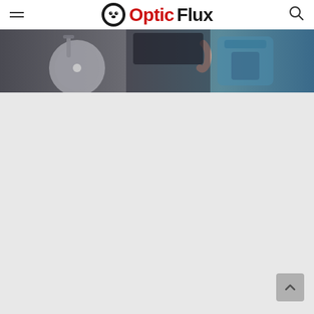Optic Flux
[Figure (photo): Photo of gym equipment including an exercise bike and rowing machine, with a person's hand visible, in a gym or studio setting.]
[Figure (other): Large light gray blank content area below the hero image, with a scroll-to-top button in the lower right corner.]